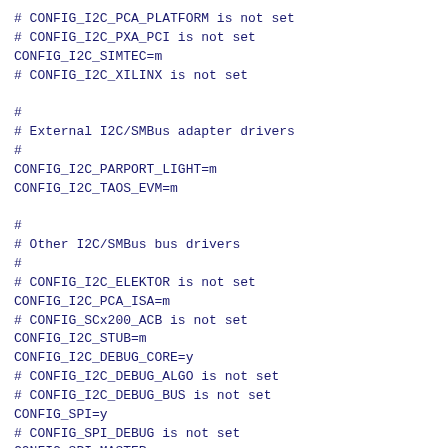# CONFIG_I2C_PCA_PLATFORM is not set
# CONFIG_I2C_PXA_PCI is not set
CONFIG_I2C_SIMTEC=m
# CONFIG_I2C_XILINX is not set

#
# External I2C/SMBus adapter drivers
#
CONFIG_I2C_PARPORT_LIGHT=m
CONFIG_I2C_TAOS_EVM=m

#
# Other I2C/SMBus bus drivers
#
# CONFIG_I2C_ELEKTOR is not set
CONFIG_I2C_PCA_ISA=m
# CONFIG_SCx200_ACB is not set
CONFIG_I2C_STUB=m
CONFIG_I2C_DEBUG_CORE=y
# CONFIG_I2C_DEBUG_ALGO is not set
# CONFIG_I2C_DEBUG_BUS is not set
CONFIG_SPI=y
# CONFIG_SPI_DEBUG is not set
CONFIG_SPI_MASTER=y

#
# SPI Master Controller Drivers
#
# CONFIG_SPI_ALTERA is not set
CONFIG_SPI_BITBANG=y